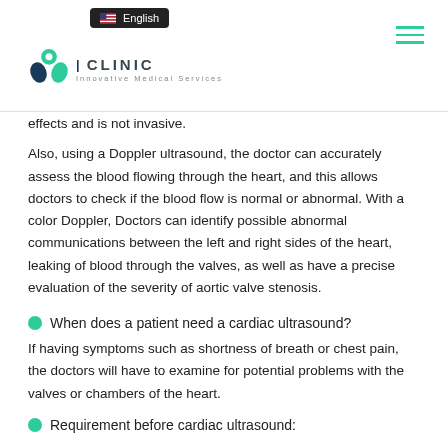English | CLINIC - Innovative Medical Services
effects and is not invasive.
Also, using a Doppler ultrasound, the doctor can accurately assess the blood flowing through the heart, and this allows doctors to check if the blood flow is normal or abnormal. With a color Doppler, Doctors can identify possible abnormal communications between the left and right sides of the heart, leaking of blood through the valves, as well as have a precise evaluation of the severity of aortic valve stenosis.
When does a patient need a cardiac ultrasound?
If having symptoms such as shortness of breath or chest pain, the doctors will have to examine for potential problems with the valves or chambers of the heart.
Requirement before cardiac ultrasound: